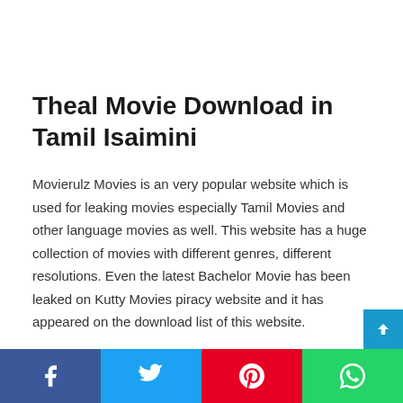Theal Movie Download in Tamil Isaimini
Movierulz Movies is an very popular website which is used for leaking movies especially Tamil Movies and other language movies as well. This website has a huge collection of movies with different genres, different resolutions. Even the latest Bachelor Movie has been leaked on Kutty Movies piracy website and it has appeared on the download list of this website.
[Figure (other): Social media sharing buttons bar at the bottom: Facebook (blue), Twitter (light blue), Pinterest (red), WhatsApp (green)]